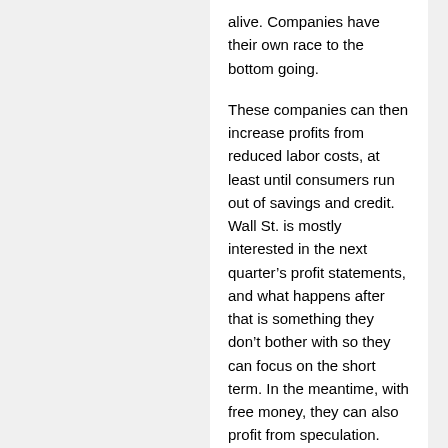alive. Companies have their own race to the bottom going.
These companies can then increase profits from reduced labor costs, at least until consumers run out of savings and credit. Wall St. is mostly interested in the next quarter’s profit statements, and what happens after that is something they don’t bother with so they can focus on the short term. In the meantime, with free money, they can also profit from speculation.
Unfortunately, speculation isn’t investment. When they do invest, it is